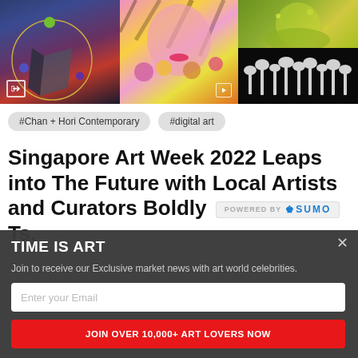[Figure (photo): Three-panel image strip: left panel shows abstract dark space art with geometric shapes and colored spheres (blue, green, purple) on circular rings; center panel shows vibrant pop-art illustration of a woman with tiger and colorful flowers in yellow, pink, magenta; right panel split top/bottom - top shows food close-up (green garnish), bottom shows white mushroom-shaped figures on black background. Share icon overlay in bottom-left of left panel.]
#Chan + Hori Contemporary
#digital art
Singapore Art Week 2022 Leaps into The Future with Local Artists and Curators Boldly Ts,
POWERED BY SUMO
TIME IS ART
Join to receive our Exclusive market news with art world celebrities.
Enter your Email
JOIN OVER 10,000+ ART LOVERS NOW